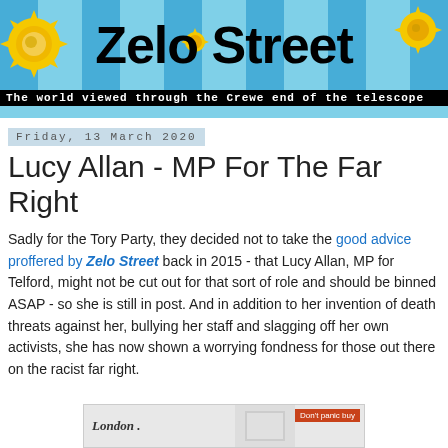[Figure (logo): Zelo Street blog banner with decorative suns on a light blue background, bold black title 'Zelo Street', and tagline 'The world viewed through the Crewe end of the telescope']
Friday, 13 March 2020
Lucy Allan - MP For The Far Right
Sadly for the Tory Party, they decided not to take the good advice proffered by Zelo Street back in 2015 - that Lucy Allan, MP for Telford, might not be cut out for that sort of role and should be binned ASAP - so she is still in post. And in addition to her invention of death threats against her, bullying her staff and slagging off her own activists, she has now shown a worrying fondness for those out there on the racist far right.
[Figure (screenshot): Partial screenshot at bottom showing what appears to be a London newspaper or website alongside a 'Don't panic buy' notice]